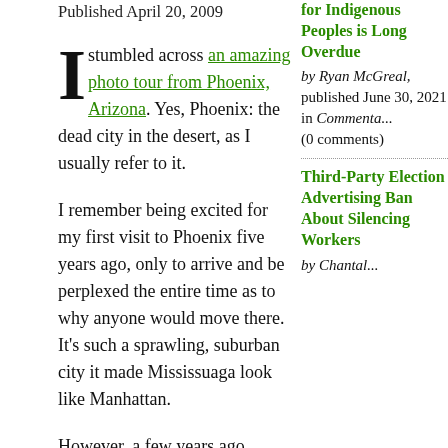Published April 20, 2009
I stumbled across an amazing photo tour from Phoenix, Arizona. Yes, Phoenix: the dead city in the desert, as I usually refer to it.
I remember being excited for my first visit to Phoenix five years ago, only to arrive and be perplexed the entire time as to why anyone would move there. It's such a sprawling, suburban city it made Mississuaga look like Manhattan.
However, a few years ago Phoenix decided to construct a light rail line linking their 'downtown' (trust me, there wasn't much of a downtown when I was there) with one
for Indigenous Peoples is Long Overdue
by Ryan McGreal, published June 30, 2021 in Commenta... (0 comments)
Third-Party Election Advertising Ban About Silencing Workers
by Chantal...